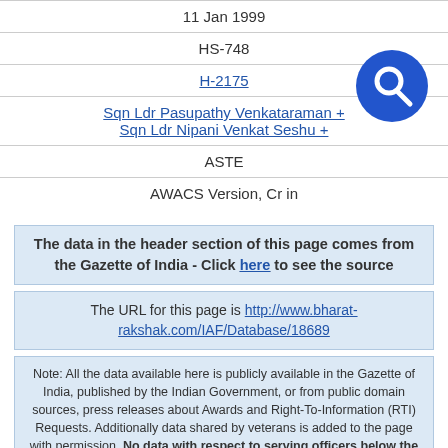11 Jan 1999
HS-748
H-2175
Sqn Ldr Pasupathy Venkataraman +
Sqn Ldr Nipani Venkat Seshu +
ASTE
AWACS Version, Cr in
The data in the header section of this page comes from the Gazette of India - Click here to see the source
The URL for this page is http://www.bharat-rakshak.com/IAF/Database/18689
Note: All the data available here is publicly available in the Gazette of India, published by the Indian Government, or from public domain sources, press releases about Awards and Right-To-Information (RTI) Requests. Additionally data shared by veterans is added to the page with permission. No data with respect to serving officers below the rank of AVM is displayed. Information in Gazette of India and Award citations and photographs as released by the Indian Air Force are the only details displayed.
0 Comments